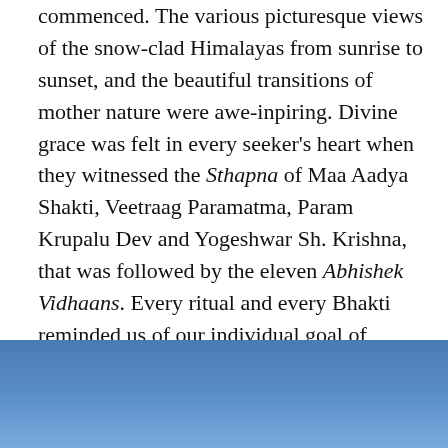commenced. The various picturesque views of the snow-clad Himalayas from sunrise to sunset, and the beautiful transitions of mother nature were awe-inpiring. Divine grace was felt in every seeker's heart when they witnessed the Sthapna of Maa Aadya Shakti, Veetraag Paramatma, Param Krupalu Dev and Yogeshwar Sh. Krishna, that was followed by the eleven Abhishek Vidhaans. Every ritual and every Bhakti reminded us of our individual goal of knowing ourselves, and our spiritual responsibility of returning back to the society.
[Figure (photo): A photograph showing a blue sky gradient, partially visible at the bottom of the page.]